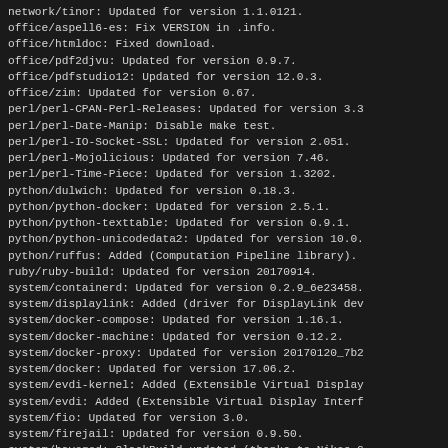network/tinor: Updated for version 1.1.0121.
office/aspell6-es: Fix VERSION in .info.
office/htmldoc: Fixed download.
office/pdf2djvu: Updated for version 0.9.7.
office/pdfstudio12: Updated for version 12.0.3.
office/zim: Updated for version 0.67.
perl/perl-CPAN-Perl-Releases: Updated for version 3.3
perl/perl-Date-Manip: Disable make test.
perl/perl-IO-Socket-SSL: Updated for version 2.051.
perl/perl-Mojolicious: Updated for version 7.46.
perl/perl-Time-Piece: Updated for version 1.3202.
python/dulwich: Updated for version 0.18.3.
python/python-docker: Updated for version 2.5.1.
python/python-texttable: Updated for version 0.9.1.
python/python-unicodedata2: Updated for version 10.0.
python/ruffus: Added (Computation Pipeline library).
ruby/ruby-build: Updated for version 20170914.
system/containerd: Updated for version 0.2.9_6e23458.
system/displaylink: Added (driver for DisplayLink dev
system/docker-compose: Updated for version 1.16.1.
system/docker-machine: Updated for version 0.12.2.
system/docker-proxy: Updated for version 20170120_7b2
system/docker: Updated for version 17.06.2.
system/evdi-kernel: Added (Extensible Virtual Display
system/evdi: Added (Extensible Virtual Display Interf
system/fio: Updated for version 3.0.
system/firejail: Updated for version 0.9.50.
system/haveged: SlackBuild updated (thanks to Nikos G
system/influxdb: Updated for version 1.3.5.
system/inxi: Updated for version 2.3.38.
system/letsencrypt: Updated for version 0.18.1.